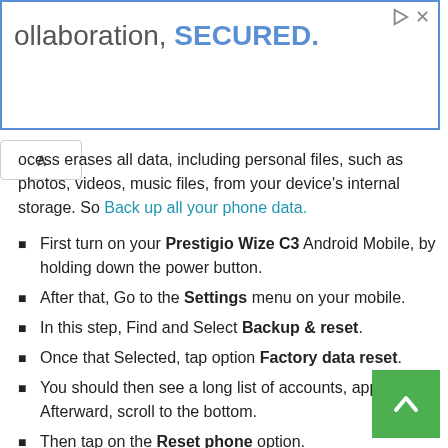[Figure (screenshot): Advertisement banner with blue border showing text 'ollaboration, SECURED.' with play and close icons in top right]
ocess erases all data, including personal files, such as photos, videos, music files, from your device's internal storage. So Back up all your phone data.
First turn on your Prestigio Wize C3 Android Mobile, by holding down the power button.
After that, Go to the Settings menu on your mobile.
In this step, Find and Select Backup & reset.
Once that Selected, tap option Factory data reset.
You should then see a long list of accounts, apps, etc. Afterward, scroll to the bottom.
Then tap on the Reset phone option.
Finally, the Device will reboot and take several minutes to start.